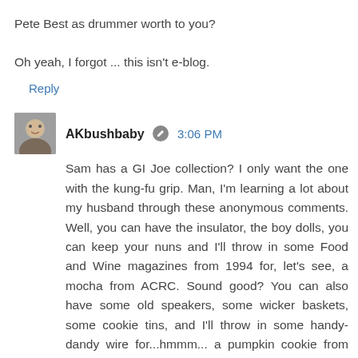Pete Best as drummer worth to you?

Oh yeah, I forgot ... this isn't e-blog.
Reply
AKbushbaby  3:06 PM
Sam has a GI Joe collection? I only want the one with the kung-fu grip. Man, I'm learning a lot about my husband through these anonymous comments. Well, you can have the insulator, the boy dolls, you can keep your nuns and I'll throw in some Food and Wine magazines from 1994 for, let's see, a mocha from ACRC. Sound good? You can also have some old speakers, some wicker baskets, some cookie tins, and I'll throw in some handy-dandy wire for...hmmm... a pumpkin cookie from ACRC. Deal? I'll take the Jesus action figure actually. Is it the one on wheels?
Reply
Anonymous  4:44 AM